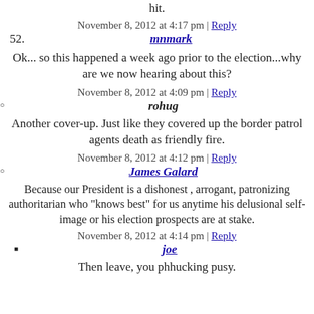hit.
November 8, 2012 at 4:17 pm | Reply
52. mnmark
Ok... so this happened a week ago prior to the election...why are we now hearing about this?
November 8, 2012 at 4:09 pm | Reply
rohug
Another cover-up. Just like they covered up the border patrol agents death as friendly fire.
November 8, 2012 at 4:12 pm | Reply
James Galard
Because our President is a dishonest , arrogant, patronizing authoritarian who "knows best" for us anytime his delusional self-image or his election prospects are at stake.
November 8, 2012 at 4:14 pm | Reply
joe
Then leave, you phhucking pusy.